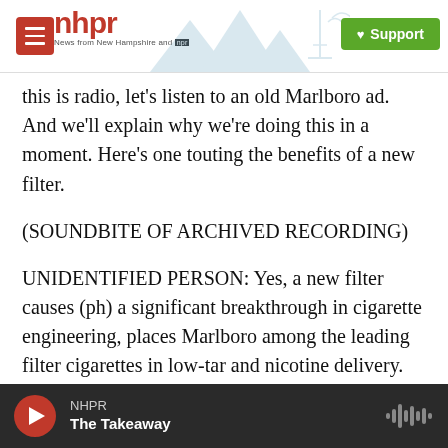nhpr — News from New Hampshire and NPR — Support
this is radio, let's listen to an old Marlboro ad. And we'll explain why we're doing this in a moment. Here's one touting the benefits of a new filter.
(SOUNDBITE OF ARCHIVED RECORDING)
UNIDENTIFIED PERSON: Yes, a new filter causes (ph) a significant breakthrough in cigarette engineering, places Marlboro among the leading filter cigarettes in low-tar and nicotine delivery. The latest published information from impartial outside sources reports Marlboro's position.
GARCIA-NAVARRO: In the early days, cigarette
NHPR — The Takeaway